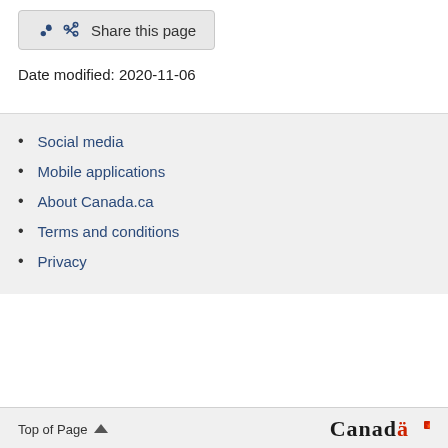Share this page
Date modified: 2020-11-06
Social media
Mobile applications
About Canada.ca
Terms and conditions
Privacy
Top of Page